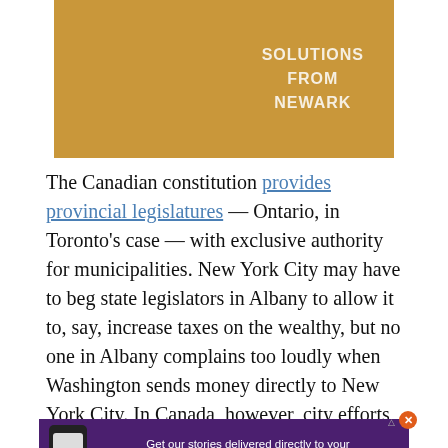[Figure (illustration): Gold/tan colored image with text reading 'SOLUTIONS FROM NEWARK' in white bold letters on the right side]
The Canadian constitution provides provincial legislatures — Ontario, in Toronto's case — with exclusive authority for municipalities. New York City may have to beg state legislators in Albany to allow it to, say, increase taxes on the wealthy, but no one in Albany complains too loudly when Washington sends money directly to New York City. In Canada, however, city efforts to attract federal money, or even federal attention, are constrained by concerns about
[Figure (infographic): Purple advertisement bar reading 'Get our stories delivered directly to your phone with the NEW Next City app!' with a phone icon on the left and an orange close button]